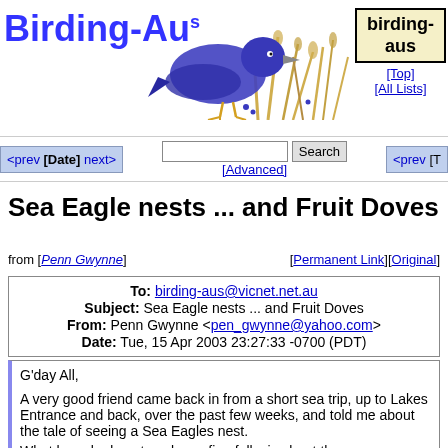Birding-Aus
[Figure (illustration): Illustration of a blue bird perched near dried grasses]
birding-aus
[Top] [All Lists]
<prev [Date] next>
Search [Advanced]
<prev [T
Sea Eagle nests ... and Fruit Doves
from [Penn Gwynne]   [Permanent Link][Original]
| To: | birding-aus@vicnet.net.au |
| Subject: | Sea Eagle nests ... and Fruit Doves |
| From: | Penn Gwynne <pen_gwynne@yahoo.com> |
| Date: | Tue, 15 Apr 2003 23:27:33 -0700 (PDT) |
G'day All,

A very good friend came back in from a short sea trip, up to Lakes Entrance and back, over the past few weeks, and told me about the tale of seeing a Sea Eagles nest.

What he asked me to ask you fine folks is about the